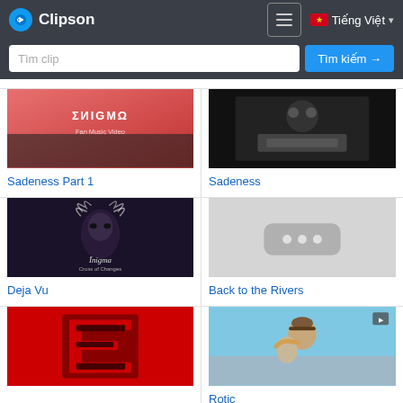Clipson — navigation bar with hamburger menu and Tiếng Việt language selector
Tìm clip — Tìm kiếm →
[Figure (screenshot): Thumbnail for Sadeness Part 1 video – red/pink background with ENIGMA Fan Music Video text]
Sadeness Part 1
[Figure (screenshot): Thumbnail for Sadeness video – dark/black and white concert image]
Sadeness
[Figure (screenshot): Thumbnail for Deja Vu – dark background with Enigma album art showing feathered/masked figure with Enigma logo text]
Deja Vu
[Figure (screenshot): Thumbnail for Back to the Rivers – grey placeholder with three dots]
Back to the Rivers
[Figure (screenshot): Thumbnail – red background with stylized letter E logo]
[Figure (screenshot): Thumbnail for Rotic – outdoor scene with two people embracing, man in hat]
Rotic